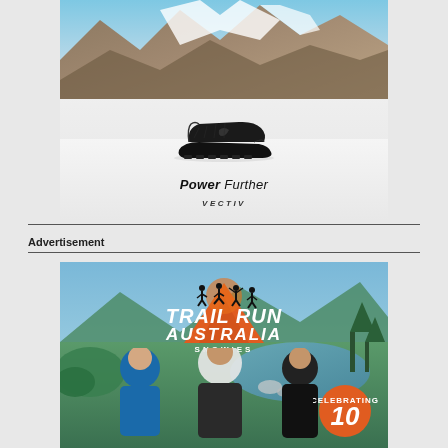[Figure (photo): The North Face advertisement showing a trail running shoe (black VECTIV shoe) against a snowy mountain landscape background, with text 'Power Further' and 'VECTIV' below the shoe.]
Advertisement
[Figure (photo): Trail Run Australia Snowies advertisement showing three smiling runners in a mountain/river landscape, with the Trail Run Australia Snowies logo in orange and white, and a 'Celebrating 10' badge in the bottom right corner.]